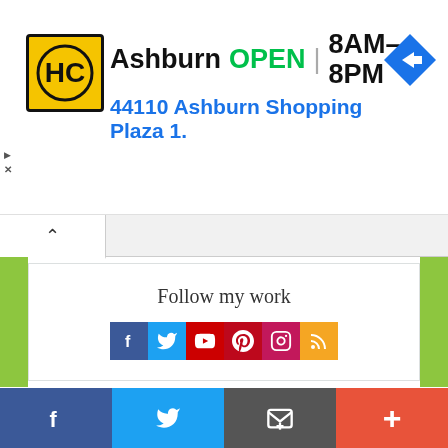[Figure (screenshot): Advertisement banner for H&C (HC logo in yellow circle with black border). Shows 'Ashburn OPEN | 8AM–8PM' and address '44110 Ashburn Shopping Plaza 1.' with navigation arrow icon on right. Small play and X icons on left edge.]
[Figure (screenshot): Browser tab/accordion bar with up caret (^) button on left side.]
[Figure (infographic): Social media follow widget with title 'Follow my work' and six social media icons: Facebook (blue), Twitter (light blue), YouTube (red), Pinterest (dark red), Instagram (pink/red), RSS (orange).]
About Gavin Webber
[Figure (screenshot): Bottom share bar with four sections: Facebook (blue, f icon), Twitter (blue, bird icon), Email/envelope (gray, envelope icon), Plus/more (orange-red, + icon).]